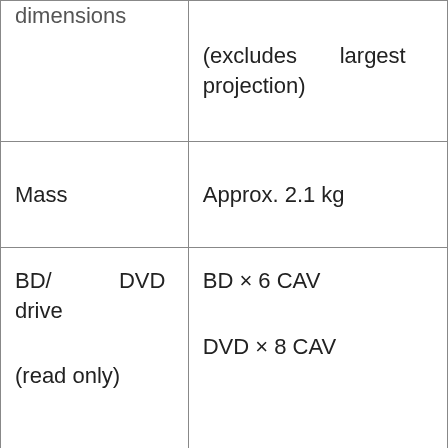| Feature | Specification |
| --- | --- |
| dimensions | (excludes largest projection) |
| Mass | Approx. 2.1 kg |
| BD/ DVD drive
(read only) | BD × 6 CAV
DVD × 8 CAV |
|  | Super-Speed USB (USB 3.1 Gen1) port |